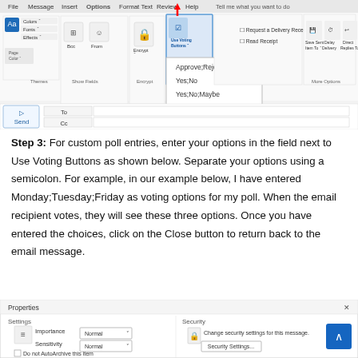[Figure (screenshot): Microsoft Outlook ribbon showing the Options tab with 'Use Voting Buttons' dropdown menu open, showing options: Approve;Reject, Yes;No, Yes;No;Maybe, Custom... Two red arrows point to the Use Voting Buttons button and the dropdown. Below the ribbon is a compose email window with To, Cc, Subject fields, Subject showing 'Poll'.]
Step 3: For custom poll entries, enter your options in the field next to Use Voting Buttons as shown below. Separate your options using a semicolon. For example, in our example below, I have entered Monday;Tuesday;Friday as voting options for my poll. When the email recipient votes, they will see these three options. Once you have entered the choices, click on the Close button to return back to the email message.
[Figure (screenshot): Microsoft Outlook Properties dialog box showing Settings section with Importance: Normal, Sensitivity: Normal, Do not AutoArchive this item checkbox, and Security section with Change security settings for this message and Security Settings button. A blue arrow/back button is visible in the top right.]